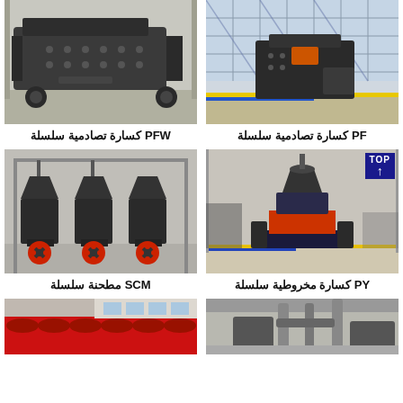[Figure (photo): PFW series impact crusher machine in industrial factory setting, large dark grey heavy machinery]
PFW كسارة تصادمية سلسلة
[Figure (photo): PF series impact crusher machine outdoors in front of glass building, dark grey heavy machinery with orange component]
PF كسارة تصادمية سلسلة
[Figure (photo): SCM series mill with multiple cone crusher units lined up, dark grey machines with red flywheel components]
SCM مطحنة سلسلة
[Figure (photo): PY series cone crusher single large unit in industrial warehouse, dark grey machine with red components]
PY كسارة مخروطية سلسلة
[Figure (photo): Partial view of red spiral conveyor equipment]
[Figure (photo): Partial view of industrial mill or separator equipment in warehouse]